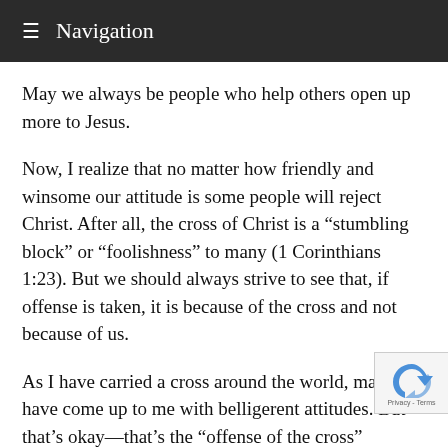≡ Navigation
May we always be people who help others open up more to Jesus.
Now, I realize that no matter how friendly and winsome our attitude is some people will reject Christ. After all, the cross of Christ is a “stumbling block” or “foolishness” to many (1 Corinthians 1:23). But we should always strive to see that, if offense is taken, it is because of the cross and not because of us.
As I have carried a cross around the world, many have come up to me with belligerent attitudes. But that’s okay—that’s the “offense of the cross” (Galatians 5:11). I try to joke and laugh with them and get them to talk with me about Jesus, for then I might be able to help them see what the cross can really mean to them.